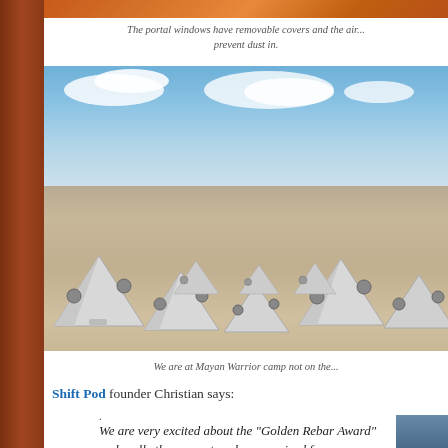[Figure (photo): Top strip of a colorful image (orange/red tones), partially visible at top of page]
The portal windows have removable covers and the air... prevent dust in.
[Figure (photo): Field of white geometric Shift Pod tents arranged on a desert/playa surface under a blue sky with clouds at Mayan Warrior camp (Burning Man)]
We are at Mayan Warrior camp not on the...
Shift Pod founder Christian says:
.
We are very excited about the "Golden Rebar Award" and really the support we have received from our community. After putting so much in over the last 20+